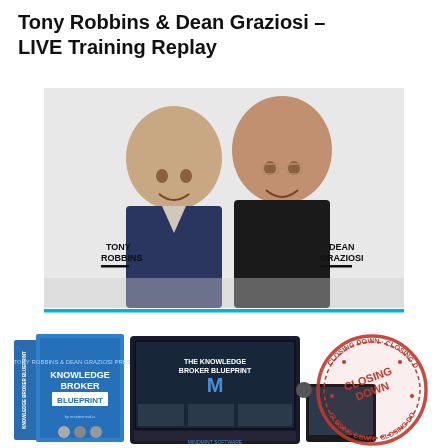Tony Robbins & Dean Graziosi – LIVE Training Replay
[Figure (photo): Photo of Tony Robbins and Dean Graziosi side by side smiling, with their names labeled below in bold: TONY ROBBINS on the left and DEAN GRAZIOSI on the right. A teal/cyan horizontal line runs across the bottom of the image.]
[Figure (photo): Product bundle image showing the Knowledge Broker Blueprint book/box on the left, a laptop/tablet with online course interface in the center, Mindmint Software branding, and a red circular stamp reading CLOSING DOWN overlaid on the right side.]